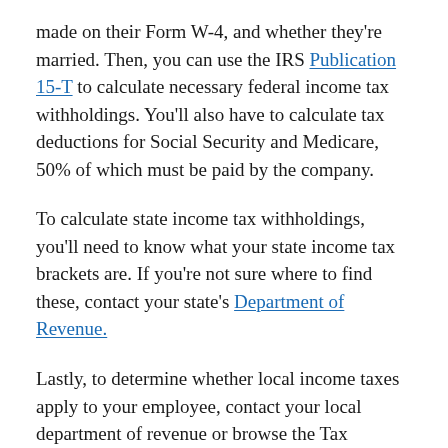made on their Form W-4, and whether they're married. Then, you can use the IRS Publication 15-T to calculate necessary federal income tax withholdings. You'll also have to calculate tax deductions for Social Security and Medicare, 50% of which must be paid by the company.
To calculate state income tax withholdings, you'll need to know what your state income tax brackets are. If you're not sure where to find these, contact your state's Department of Revenue.
Lastly, to determine whether local income taxes apply to your employee, contact your local department of revenue or browse the Tax Foundation's local income taxes list.
Post-Tax Deductions